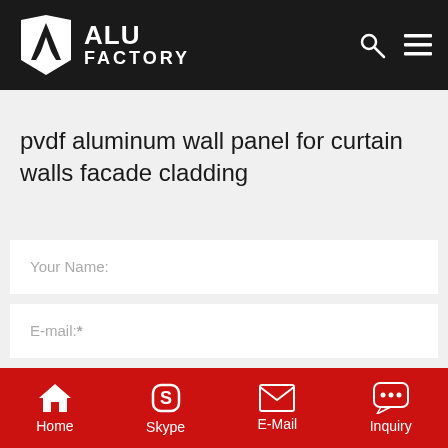ALU FACTORY
pvdf aluminum wall panel for curtain walls facade cladding
Your Name:
E-mail:*
Content*
Home | Skype | E-Mail | Inquiry